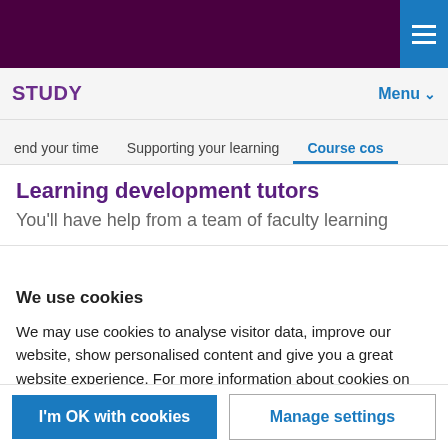STUDY | Menu
Learning development tutors
You'll have help from a team of faculty learning
We use cookies

We may use cookies to analyse visitor data, improve our website, show personalised content and give you a great website experience. For more information about cookies on our site and to tailor the cookies we collect, select 'Manage settings'.
I'm OK with cookies | Manage settings